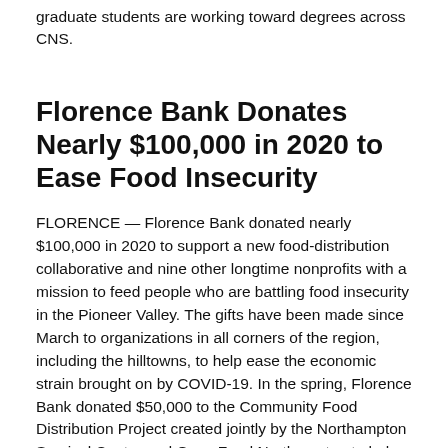graduate students are working toward degrees across CNS.
Florence Bank Donates Nearly $100,000 in 2020 to Ease Food Insecurity
FLORENCE — Florence Bank donated nearly $100,000 in 2020 to support a new food-distribution collaborative and nine other longtime nonprofits with a mission to feed people who are battling food insecurity in the Pioneer Valley. The gifts have been made since March to organizations in all corners of the region, including the hilltowns, to help ease the economic strain brought on by COVID-19. In the spring, Florence Bank donated $50,000 to the Community Food Distribution Project created jointly by the Northampton Survival Center and Grow Food Northampton to help fund emergency food distribution in the early months of the pandemic. The new collaborative makes food staples